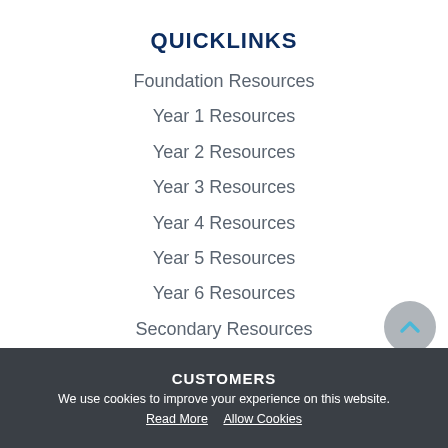QUICKLINKS
Foundation Resources
Year 1 Resources
Year 2 Resources
Year 3 Resources
Year 4 Resources
Year 5 Resources
Year 6 Resources
Secondary Resources
CUSTOMERS
We use cookies to improve your experience on this website.
Read More   Allow Cookies